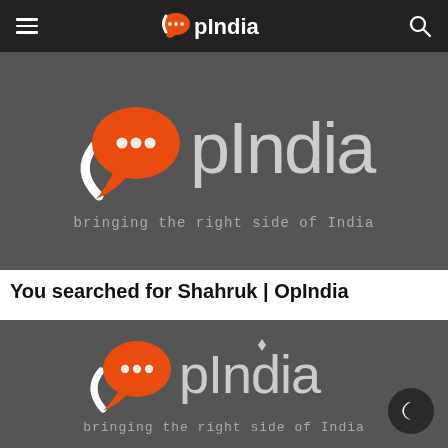OpIndia navigation bar with hamburger menu, OpIndia logo, and search icon
[Figure (logo): OpIndia logo on dark grey background with tagline 'bringing the right side of India']
You searched for Shahruk | OpIndia
[Figure (logo): OpIndia logo on dark grey background with tagline 'bringing the right side of India' and dark mode toggle button]